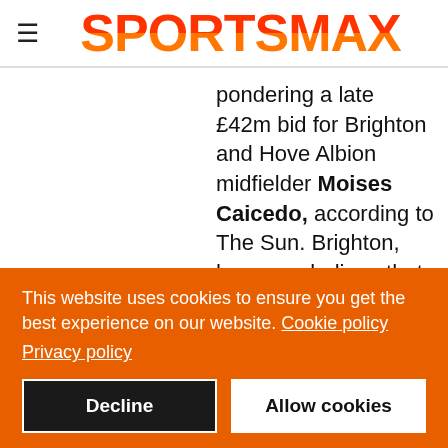SPORTSMAX
pondering a late £42m bid for Brighton and Hove Albion midfielder Moises Caicedo, according to The Sun. Brighton, however, believe that the Ecuador
This website uses cookies to ensure you get the best experience on our website. Cookie policy
Privacy policy
Decline
Allow cookies